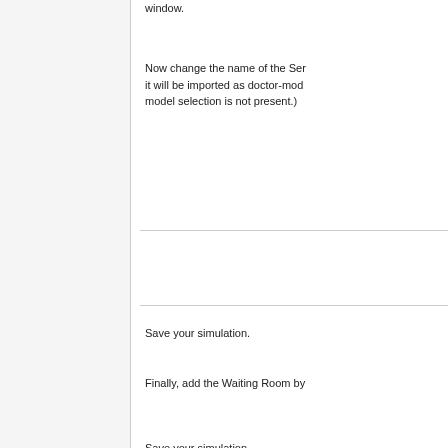window.
Now change the name of the Ser it will be imported as doctor-mod model selection is not present.)
Save your simulation.
Finally, add the Waiting Room by
Save your simulation.
Now that the components are pre Arrive, Wait, Treat, and Leave. W enter the set of patient states { A
We have finished our definition o
From the Process Flow palette w PatientSink, ArriveToTreat, and T